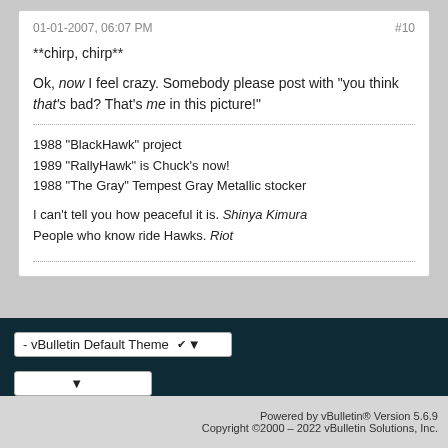01-01-2007, 06:07 PM   #10
**chirp, chirp**
Ok, now I feel crazy. Somebody please post with "you think that's bad? That's me in this picture!"
1988 "BlackHawk" project
1989 "RallyHawk" is Chuck's now!
1988 "The Gray" Tempest Gray Metallic stocker
I can't tell you how peaceful it is. Shinya Kimura
People who know ride Hawks. Riot
- vBulletin Default Theme ▾
Go to... ▾
Powered by vBulletin® Version 5.6.9